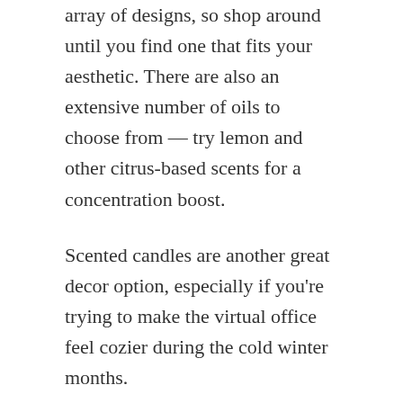array of designs, so shop around until you find one that fits your aesthetic. There are also an extensive number of oils to choose from — try lemon and other citrus-based scents for a concentration boost.
Scented candles are another great decor option, especially if you're trying to make the virtual office feel cozier during the cold winter months.
Light up the room
Having enough light is one of the easiest ways to design your office space with concentration in mind. In a perfect world, every office space would be bathed in natural sunlight. Even though many